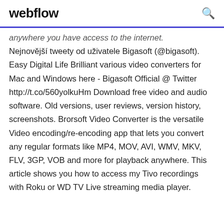webflow
anywhere you have access to the internet. Nejnovější tweety od uživatele Bigasoft (@bigasoft). Easy Digital Life Brilliant various video converters for Mac and Windows here - Bigasoft Official @ Twitter http://t.co/560yolkuHm Download free video and audio software. Old versions, user reviews, version history, screenshots. Brorsoft Video Converter is the versatile Video encoding/re-encoding app that lets you convert any regular formats like MP4, MOV, AVI, WMV, MKV, FLV, 3GP, VOB and more for playback anywhere. This article shows you how to access my Tivo recordings with Roku or WD TV Live streaming media player.